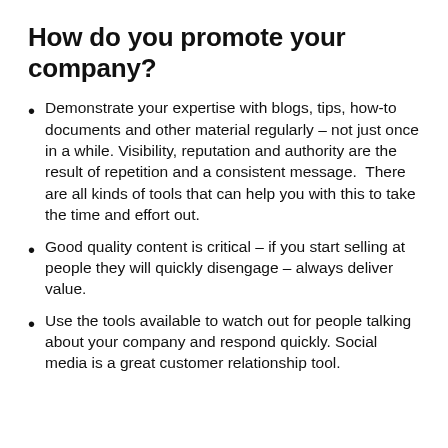How do you promote your company?
Demonstrate your expertise with blogs, tips, how-to documents and other material regularly – not just once in a while. Visibility, reputation and authority are the result of repetition and a consistent message.  There are all kinds of tools that can help you with this to take the time and effort out.
Good quality content is critical – if you start selling at people they will quickly disengage – always deliver value.
Use the tools available to watch out for people talking about your company and respond quickly. Social media is a great customer relationship tool.